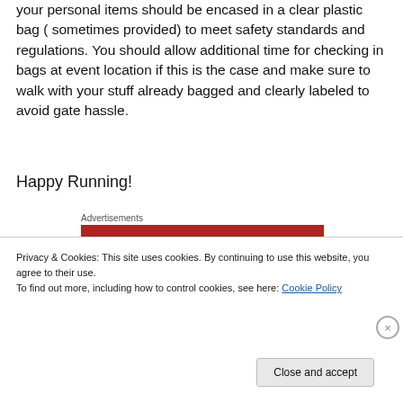your personal items should be encased in a clear plastic bag ( sometimes provided) to meet safety standards and regulations. You should allow additional time for checking in bags at event location if this is the case and make sure to walk with your stuff already bagged and clearly labeled to avoid gate hassle.
Happy Running!
Advertisements
[Figure (logo): Longreads advertisement banner with red background showing the Longreads logo (circle with L) and LONGREADS text in white]
Privacy & Cookies: This site uses cookies. By continuing to use this website, you agree to their use.
To find out more, including how to control cookies, see here: Cookie Policy
Close and accept